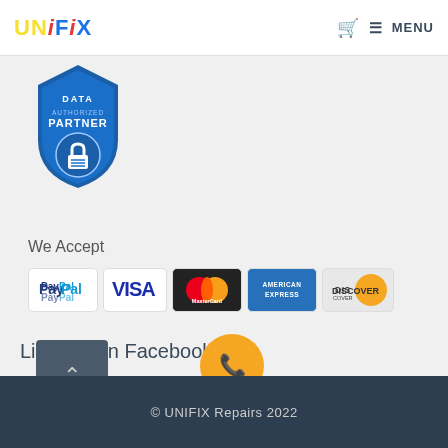UNFIX  🛒  ≡ MENU
[Figure (logo): DATA Authorized Partner shield badge in blue]
We Accept
[Figure (infographic): Payment method logos: PayPal, VISA, MasterCard, American Express, Discover]
Like Us On Facebook
© UNIFIX Repairs 2022